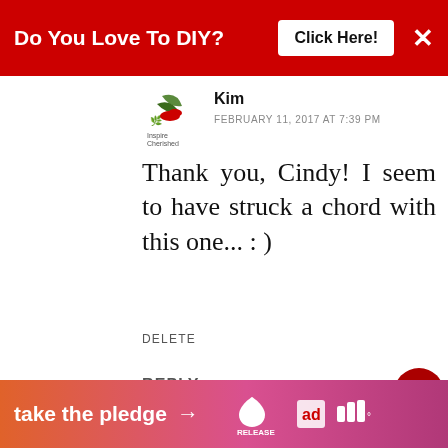[Figure (other): Red advertisement banner: 'Do You Love To DIY? Click Here!' with close X button]
Kim
FEBRUARY 11, 2017 AT 7:39 PM
Thank you, Cindy! I seem to have struck a chord with this one... : )
DELETE
REPLY
Betty
FEBRUARY 10, 2017 AT 11:01 PM
Oh, I just love this post! ... phrased it all perfectly. Thank you!
WHAT'S NEXT → Redecorating....
[Figure (other): Bottom banner: 'take the pledge →' with RELEASE logo and other logos]